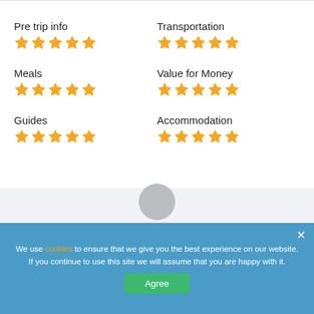Pre trip info
[Figure (other): 5 orange stars rating for Pre trip info]
Transportation
[Figure (other): 5 orange stars rating for Transportation]
Meals
[Figure (other): 5 orange stars rating for Meals]
Value for Money
[Figure (other): 5 orange stars rating for Value for Money]
Guides
[Figure (other): 5 orange stars rating for Guides]
Accommodation
[Figure (other): 5 orange stars rating for Accommodation]
We use cookies to ensure that we give you the best experience on our website. If you continue to use this site we will assume that you are happy with it.
Agree